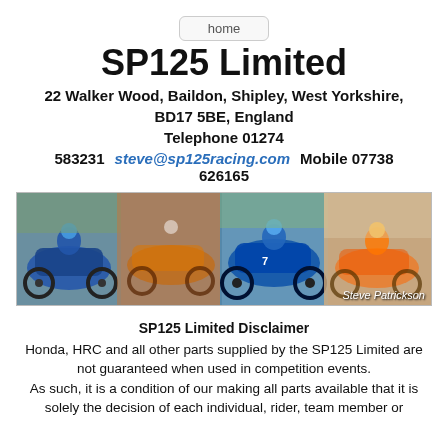home
SP125 Limited
22 Walker Wood,  Baildon,  Shipley,  West Yorkshire,  BD17 5BE,  England
Telephone 01274
583231   steve@sp125racing.com   Mobile 07738 626165
[Figure (photo): Composite photo strip of four motorcycle racing images with rider Steve Patrickson credited in lower right.]
SP125 Limited Disclaimer
Honda, HRC and all other parts supplied by the SP125 Limited are not guaranteed when used in competition events.
As such, it is a condition of our making all parts available that it is solely the decision of each individual, rider, team member or